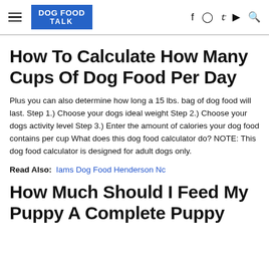DOG FOOD TALK
How To Calculate How Many Cups Of Dog Food Per Day
Plus you can also determine how long a 15 lbs. bag of dog food will last. Step 1.) Choose your dogs ideal weight Step 2.) Choose your dogs activity level Step 3.) Enter the amount of calories your dog food contains per cup What does this dog food calculator do? NOTE: This dog food calculator is designed for adult dogs only.
Read Also:  Iams Dog Food Henderson Nc
How Much Should I Feed My Puppy A Complete Puppy